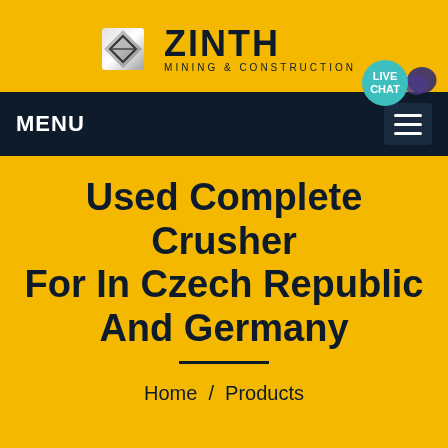[Figure (logo): ZINTH Mining & Construction logo with metallic diamond shape icon and text]
MENU
Used Complete Crusher For In Czech Republic And Germany
Home / Products